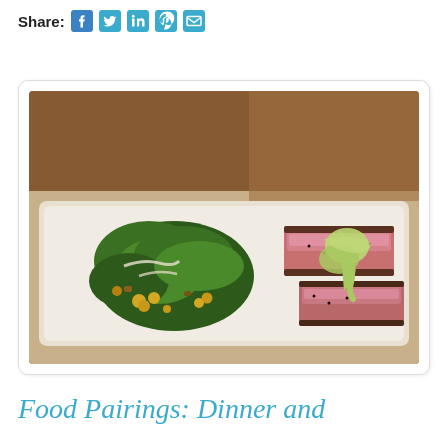Share:
[Figure (photo): A plated dish on a white rectangular plate featuring seared tuna steaks topped with a green avocado or wasabi sauce, alongside a green leafy salad topped with roasted corn or chickpeas.]
Food Pairings: Dinner and